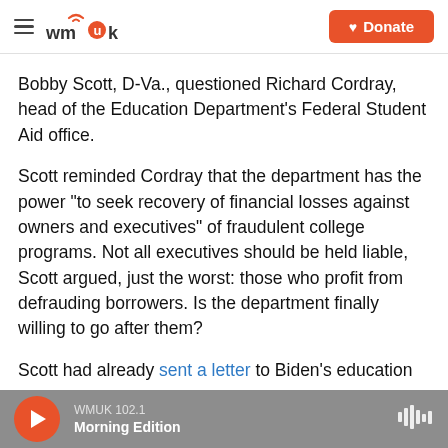WMUK [logo] | Donate
Bobby Scott, D-Va., questioned Richard Cordray, head of the Education Department's Federal Student Aid office.
Scott reminded Cordray that the department has the power "to seek recovery of financial losses against owners and executives" of fraudulent college programs. Not all executives should be held liable, Scott argued, just the worst: those who profit from defrauding borrowers. Is the department finally willing to go after them?
Scott had already sent a letter to Biden's education
WMUK 102.1 | Morning Edition